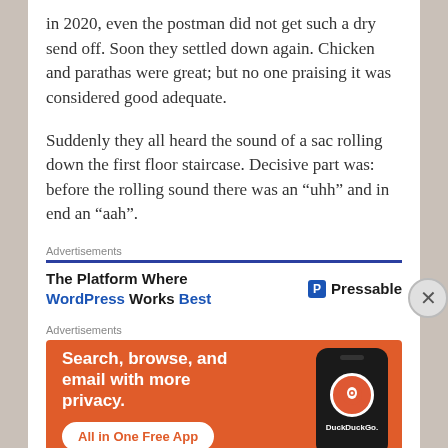in 2020, even the postman did not get such a dry send off. Soon they settled down again. Chicken and parathas were great; but no one praising it was considered good adequate.
Suddenly they all heard the sound of a sac rolling down the first floor staircase. Decisive part was: before the rolling sound there was an “uhh” and in end an “aah”.
Advertisements
[Figure (other): Advertisement banner for Pressable: 'The Platform Where WordPress Works Best' with Pressable logo]
Advertisements
[Figure (other): Advertisement banner for DuckDuckGo: 'Search, browse, and email with more privacy. All in One Free App' with phone image and DuckDuckGo logo]